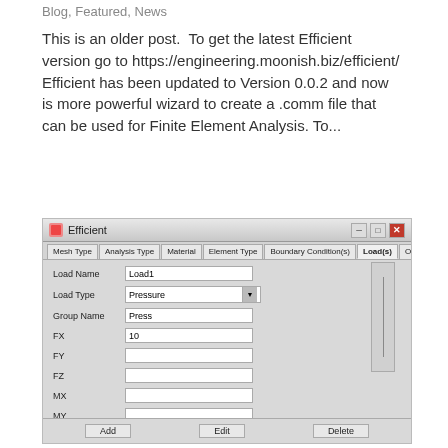Blog, Featured, News
This is an older post.  To get the latest Efficient version go to https://engineering.moonish.biz/efficient/ Efficient has been updated to Version 0.0.2 and now is more powerful wizard to create a .comm file that can be used for Finite Element Analysis. To...
[Figure (screenshot): Screenshot of the 'Efficient' software application window showing a form with tabs: Mesh Type, Analysis Type, Material, Element Type, Boundary Condition(s), Load(s), Output. The Load(s) tab is active and shows fields: Load Name (Load1), Load Type (Pressure dropdown), Group Name (Press), FX (10), FY, FZ, MX, MY, MZ. Bottom buttons: Add, Edit, Delete.]